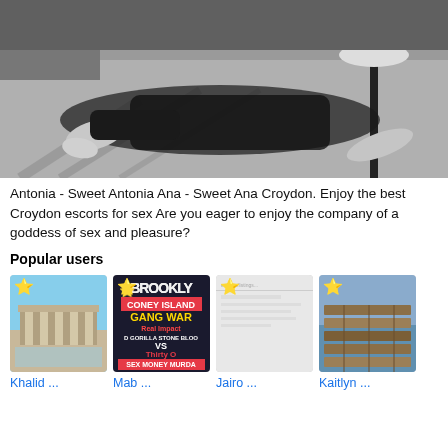[Figure (photo): Black and white photo of a person lying on carpet near a chair/table]
Antonia - Sweet Antonia Ana - Sweet Ana Croydon. Enjoy the best Croydon escorts for sex Are you eager to enjoy the company of a goddess of sex and pleasure?
Popular users
[Figure (photo): Thumbnail image of a building - Khalid]
[Figure (photo): Thumbnail image of Brooklyn Coney Island Gang War book/media cover - Mab]
[Figure (photo): Thumbnail image - Jairo]
[Figure (photo): Thumbnail image of wooden boards/dock - Kaitlyn]
Khalid ...
Mab ...
Jairo ...
Kaitlyn ...